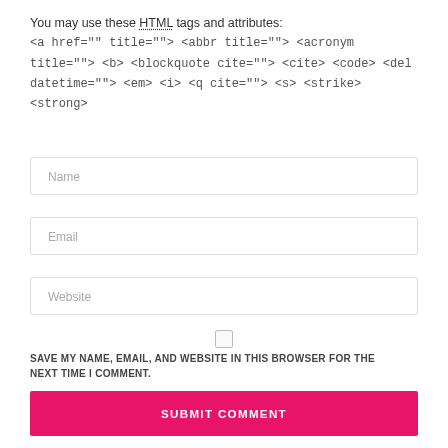You may use these HTML tags and attributes: <a href="" title=""> <abbr title=""> <acronym title=""> <b> <blockquote cite=""> <cite> <code> <del datetime=""> <em> <i> <q cite=""> <s> <strike> <strong>
Name
Email
Website
SAVE MY NAME, EMAIL, AND WEBSITE IN THIS BROWSER FOR THE NEXT TIME I COMMENT.
SUBMIT COMMENT